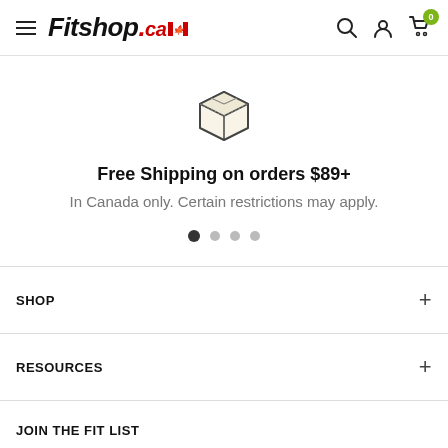Fitshop.ca
[Figure (illustration): Package/box icon representing shipping]
Free Shipping on orders $89+
In Canada only. Certain restrictions may apply.
SHOP
RESOURCES
JOIN THE FIT LIST